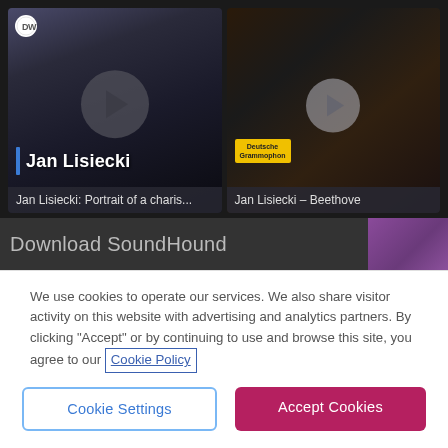[Figure (screenshot): Screenshot of a video streaming page showing Jan Lisiecki piano videos. Left thumbnail: Jan Lisiecki portrait video with DW logo, play button, blue bar, name overlay 'Jan Lisiecki', title 'Jan Lisiecki: Portrait of a charis...'. Right thumbnail: Jan Lisiecki Deutsche Grammophon video with play button, title 'Jan Lisiecki – Beethove'. Below: 'Download SoundHound' banner.]
We use cookies to operate our services. We also share visitor activity on this website with advertising and analytics partners. By clicking "Accept" or by continuing to use and browse this site, you agree to our Cookie Policy
Cookie Settings
Accept Cookies